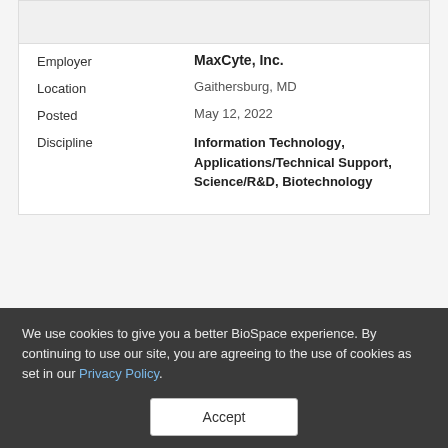[Figure (other): Image placeholder at top of card]
| Field | Value |
| --- | --- |
| Employer | MaxCyte, Inc. |
| Location | Gaithersburg, MD |
| Posted | May 12, 2022 |
| Discipline | Information Technology, Applications/Technical Support, Science/R&D, Biotechnology |
We use cookies to give you a better BioSpace experience. By continuing to use our site, you are agreeing to the use of cookies as set in our Privacy Policy.
Accept